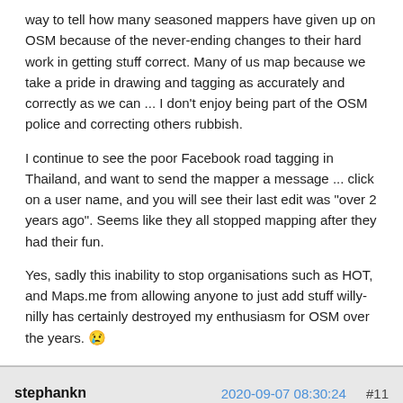way to tell how many seasoned mappers have given up on OSM because of the never-ending changes to their hard work in getting stuff correct.  Many of us map because we take a pride in drawing and tagging as accurately and correctly as we can ... I don't enjoy being part of the OSM police and correcting others rubbish.
I continue to see the poor Facebook road tagging in Thailand, and want to send the mapper a message ... click on a user name, and you will see their last edit was "over 2 years ago".  Seems like they all stopped mapping after they had their fun.
Yes, sadly this inability to stop organisations such as HOT, and Maps.me from allowing anyone to just add stuff willy-nilly has certainly destroyed my enthusiasm for OSM over the years. 😢
stephankn | 2020-09-07 08:30:24 | #11
Hello,
yes, all these HOT, RedCross, MissingMaps, Malaria, Covid mappers, they all think they do good and probably not notice that most of their work is simply a complete waste of their time as their mis-aligned,